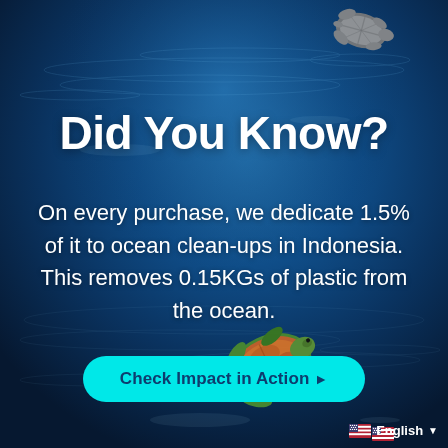[Figure (photo): Ocean background with sea turtles swimming, deep blue water with ripples and light reflections. A small turtle is visible at the top right, and a larger colorful sea turtle at the bottom center.]
Did You Know?
On every purchase, we dedicate 1.5% of it to ocean clean-ups in Indonesia. This removes 0.15KGs of plastic from the ocean.
Check Impact in Action ▶
English